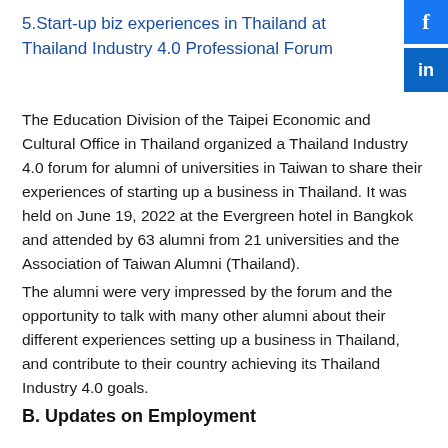[Figure (logo): Facebook social media icon, blue background with white 'f']
[Figure (logo): LinkedIn social media icon, blue background with white 'in']
5.Start-up biz experiences in Thailand at Thailand Industry 4.0 Professional Forum
The Education Division of the Taipei Economic and Cultural Office in Thailand organized a Thailand Industry 4.0 forum for alumni of universities in Taiwan to share their experiences of starting up a business in Thailand. It was held on June 19, 2022 at the Evergreen hotel in Bangkok and attended by 63 alumni from 21 universities and the Association of Taiwan Alumni (Thailand).
The alumni were very impressed by the forum and the opportunity to talk with many other alumni about their different experiences setting up a business in Thailand, and contribute to their country achieving its Thailand Industry 4.0 goals.
B. Updates on Employment